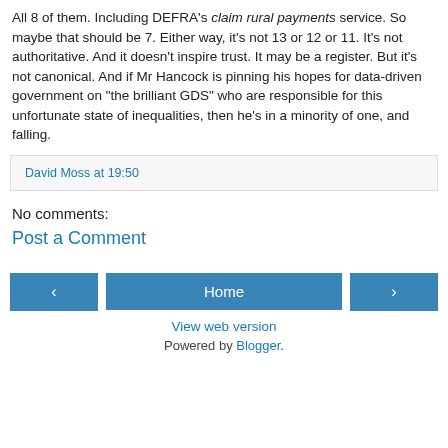All 8 of them. Including DEFRA's claim rural payments service. So maybe that should be 7. Either way, it's not 13 or 12 or 11. It's not authoritative. And it doesn't inspire trust. It may be a register. But it's not canonical. And if Mr Hancock is pinning his hopes for data-driven government on "the brilliant GDS" who are responsible for this unfortunate state of inequalities, then he's in a minority of one, and falling.
David Moss at 19:50
No comments:
Post a Comment
‹ Home › View web version Powered by Blogger.